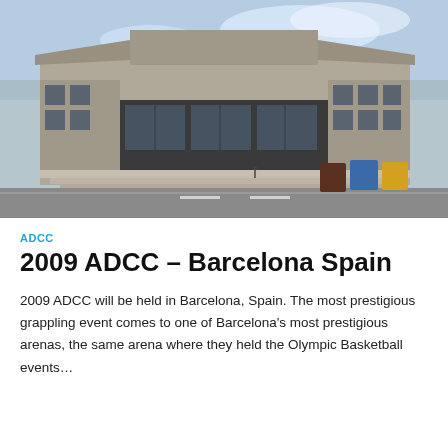[Figure (photo): Exterior photograph of a large concrete arena building in Barcelona, Spain. The building features brutalist architecture with wide steps leading up to glass entrance doors. A road is visible in the foreground along with blue recycling bins.]
ADCC
2009 ADCC – Barcelona Spain
2009 ADCC will be held in Barcelona, Spain. The most prestigious grappling event comes to one of Barcelona's most prestigious arenas, the same arena where they held the Olympic Basketball events…